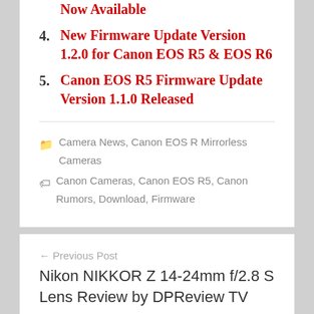Now Available
4. New Firmware Update Version 1.2.0 for Canon EOS R5 & EOS R6
5. Canon EOS R5 Firmware Update Version 1.1.0 Released
Camera News, Canon EOS R Mirrorless Cameras
Canon Cameras, Canon EOS R5, Canon Rumors, Download, Firmware
← Previous Post
Nikon NIKKOR Z 14-24mm f/2.8 S Lens Review by DPReview TV